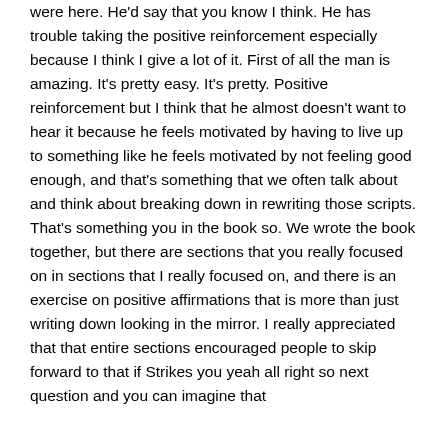were here. He'd say that you know I think. He has trouble taking the positive reinforcement especially because I think I give a lot of it. First of all the man is amazing. It's pretty easy. It's pretty. Positive reinforcement but I think that he almost doesn't want to hear it because he feels motivated by having to live up to something like he feels motivated by not feeling good enough, and that's something that we often talk about and think about breaking down in rewriting those scripts. That's something you in the book so. We wrote the book together, but there are sections that you really focused on in sections that I really focused on, and there is an exercise on positive affirmations that is more than just writing down looking in the mirror. I really appreciated that that entire sections encouraged people to skip forward to that if Strikes you yeah all right so next question and you can imagine that